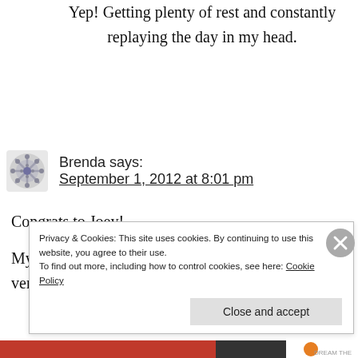Yep! Getting plenty of rest and constantly replaying the day in my head.
Brenda says: September 1, 2012 at 8:01 pm
Congrats to Joey!
My husband competed there several years ago on a very hot August day. It was an
Privacy & Cookies: This site uses cookies. By continuing to use this website, you agree to their use. To find out more, including how to control cookies, see here: Cookie Policy
Close and accept